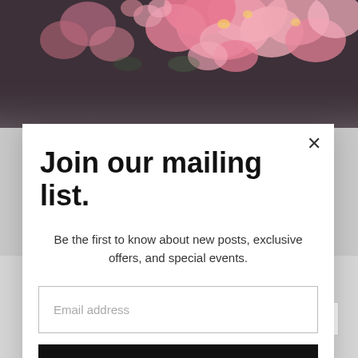[Figure (photo): Pink flowers/blossoms on a dark background, shown as a cropped banner at the top of the page behind a modal popup.]
Join our mailing list.
Be the first to know about new posts, exclusive offers, and special events.
Email address
Subscribe
Thank you for subscribing!
SUBSCRIBE